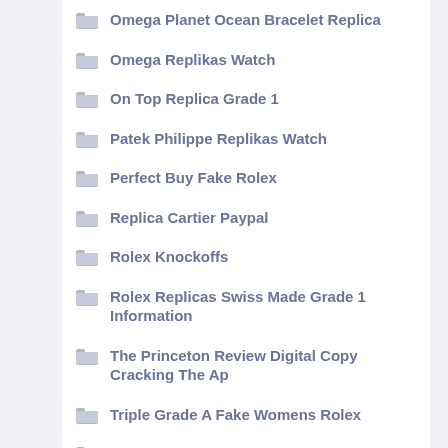Omega Planet Ocean Bracelet Replica
Omega Replikas Watch
On Top Replica Grade 1
Patek Philippe Replikas Watch
Perfect Buy Fake Rolex
Replica Cartier Paypal
Rolex Knockoffs
Rolex Replicas Swiss Made Grade 1 Information
The Princeton Review Digital Copy Cracking The Ap
Triple Grade A Fake Womens Rolex
Uncategorized
Were To Sell A Fake Rolex Gmt Master Ii Price